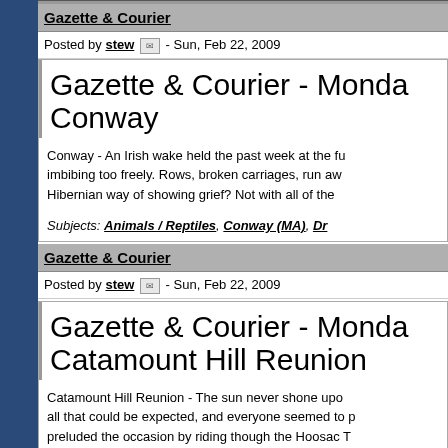Gazette & Courier
Posted by stew - Sun, Feb 22, 2009
Gazette & Courier - Monday, February 23, 1874 - Conway
Conway - An Irish wake held the past week at the fu... imbibing too freely. Rows, broken carriages, run aw... Hibernian way of showing grief? Not with all of the...
Subjects: Animals / Reptiles, Conway (MA), Dr...
Gazette & Courier
Posted by stew - Sun, Feb 22, 2009
Gazette & Courier - Monday, February 23, 1874 - Catamount Hill Reunion
Catamount Hill Reunion - The sun never shone upo... all that could be expected, and everyone seemed to p... preluded the occasion by riding though the Hoosac T...
Then on up the mountain they went, stopping ever...